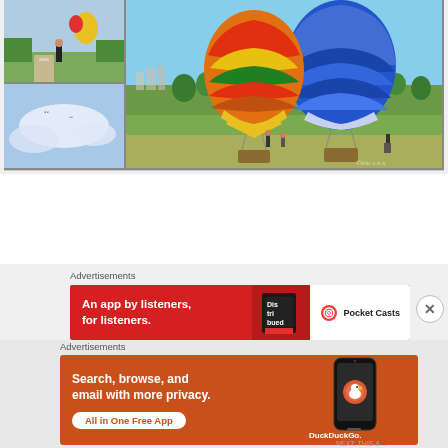[Figure (photo): Photo collage of Annual Hot Air Balloon Festival in Putrajaya, Malaysia. Top-left: person standing on path near colorful hot air balloon. Bottom-left: sky with birds/kites. Right: large colorful hot air balloons (blue, orange/red/yellow/green stripes) on grassy field with blue sky.]
Annual Hot Air Balloon Festival in Putrajaya, Malaysia.
Advertisements
[Figure (screenshot): Pocket Casts advertisement banner: red background, 'An app by listeners, for listeners.' text in white, Pocket Casts logo on right, book graphic in center.]
Advertisements
[Figure (screenshot): DuckDuckGo advertisement banner: orange background, 'Search, browse, and email with more privacy. All in One Free App' text in white, DuckDuckGo logo and phone mockup on right.]